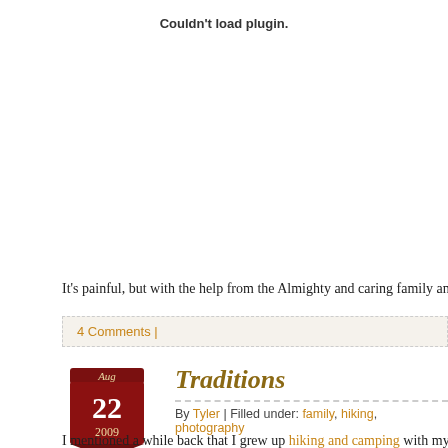[Figure (other): Plugin error placeholder — 'Couldn't load plugin.']
It's painful, but with the help from the Almighty and caring family and friends the
4 Comments |
Traditions
By Tyler | Filled under: family, hiking, photography
I mentioned a while back that I grew up hiking and camping with my Dad. We m weekend with an overnighter to Wrightwood, CA. We made camp at Guffy and